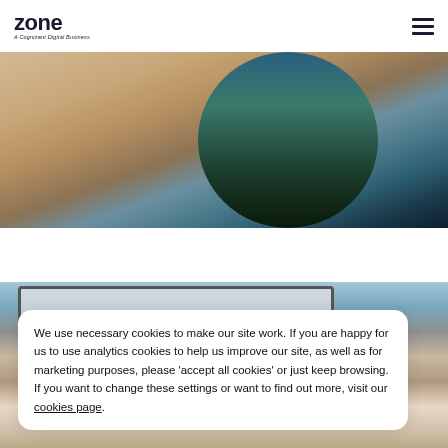zone — A Cognizant Digital Business
[Figure (photo): Person sitting on a couch using a laptop with stickers, wearing a blue patterned top and black pants, with a dark blanket]
[Figure (photo): Person sitting in front of a large monitor/screen at a desk, with teal curtains in background]
We use necessary cookies to make our site work. If you are happy for us to use analytics cookies to help us improve our site, as well as for marketing purposes, please 'accept all cookies' or just keep browsing. If you want to change these settings or want to find out more, visit our cookies page.